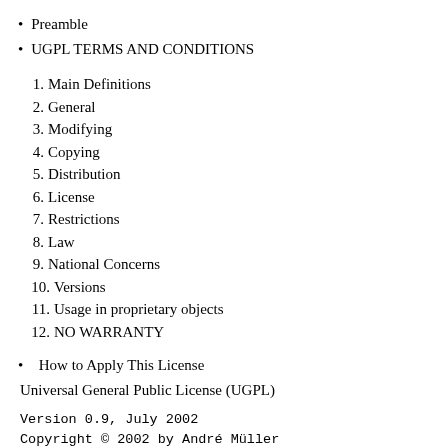Preamble
UGPL TERMS AND CONDITIONS
1. Main Definitions
2. General
3. Modifying
4. Copying
5. Distribution
6. License
7. Restrictions
8. Law
9. National Concerns
10. Versions
11. Usage in proprietary objects
12. NO WARRANTY
How to Apply This License
Universal General Public License (UGPL)
Version 0.9, July 2002
Copyright © 2002 by André Müller